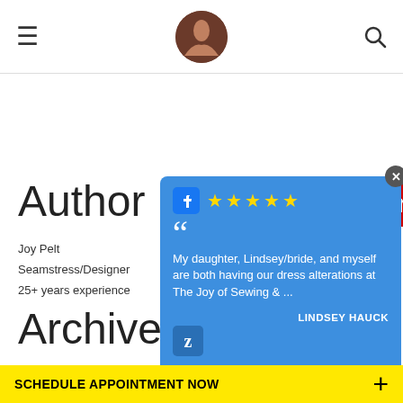Navigation bar with hamburger menu, logo, and search icon
© Widgetic · Facebook Like
[Figure (screenshot): LinkedIn View my profile on Linked In button]
Author
[Figure (infographic): Social media icons: Facebook, Twitter, Pinterest, Instagram, LinkedIn (red circles with white icons)]
Joy Pelt
Seamstress/Designer
25+ years experience
Archives
[Figure (screenshot): Review overlay card with Facebook 5 star rating and quote: My daughter, Lindsey/bride, and myself are both having our dress alterations at The Joy of Sewing & ... - LINDSEY HAUCK]